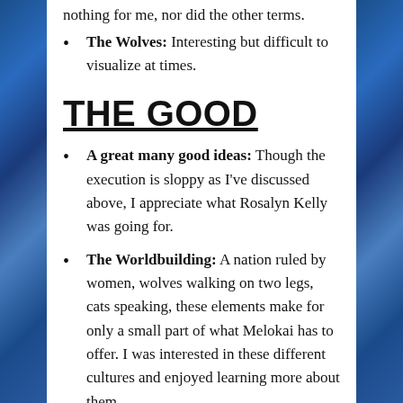nothing for me, nor did the other terms.
The Wolves: Interesting but difficult to visualize at times.
THE GOOD
A great many good ideas: Though the execution is sloppy as I've discussed above, I appreciate what Rosalyn Kelly was going for.
The Worldbuilding: A nation ruled by women, wolves walking on two legs, cats speaking, these elements make for only a small part of what Melokai has to offer. I was interested in these different cultures and enjoyed learning more about them.